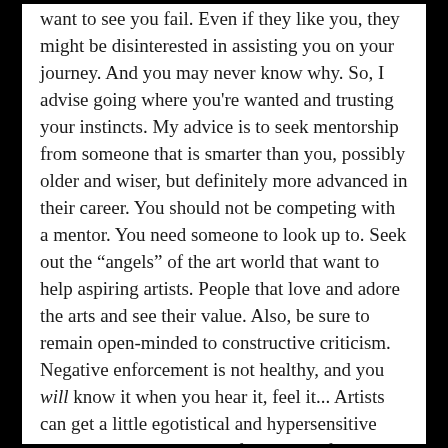want to see you fail. Even if they like you, they might be disinterested in assisting you on your journey. And you may never know why. So, I advise going where you're wanted and trusting your instincts. My advice is to seek mentorship from someone that is smarter than you, possibly older and wiser, but definitely more advanced in their career. You should not be competing with a mentor. You need someone to look up to. Seek out the “angels” of the art world that want to help aspiring artists. People that love and adore the arts and see their value. Also, be sure to remain open-minded to constructive criticism. Negative enforcement is not healthy, and you will know it when you hear it, feel it... Artists can get a little egotistical and hypersensitive when it comes to their craft, and rightfully so. But it’s imperative to be able to take advice from others that hold your best interests.
Contact Info: